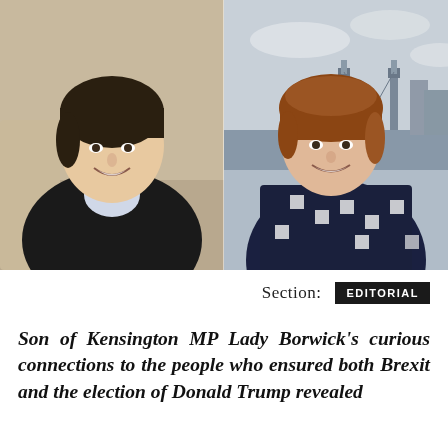[Figure (photo): Two side-by-side photographs. Left: a young man with dark hair smiling, wearing a dark jacket and light blue shirt, seated indoors. Right: an older woman with reddish-brown hair smiling, wearing a dark navy jacket with white square pattern, standing outdoors with Tower Bridge and London skyline in the background.]
Section:  EDITORIAL
Son of Kensington MP Lady Borwick's curious connections to the people who ensured both Brexit and the election of Donald Trump revealed